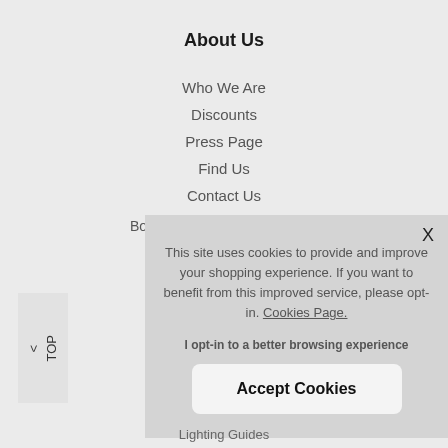About Us
Who We Are
Discounts
Press Page
Find Us
Contact Us
Bo
< TOP
[Figure (screenshot): Cookie consent modal dialog with close X button, cookie notice text, opt-in text, and Accept Cookies button]
This site uses cookies to provide and improve your shopping experience. If you want to benefit from this improved service, please opt-in. Cookies Page.
I opt-in to a better browsing experience
Accept Cookies
Lighting Guides